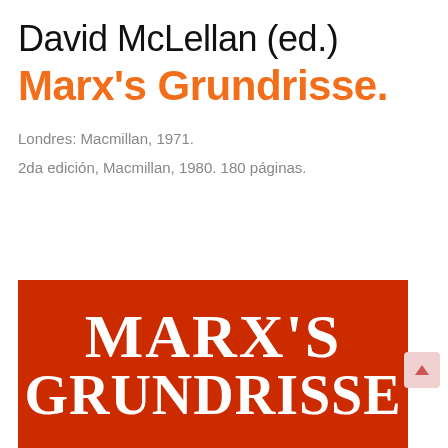David McLellan (ed.)
Marx's Grundrisse.
Londres: Macmillan, 1971.
2da edición, Macmillan, 1980. 180 páginas.
[Figure (illustration): Red book cover with bold white serif text reading MARX'S GRUNDRISSE on a bright red/orange-red background]